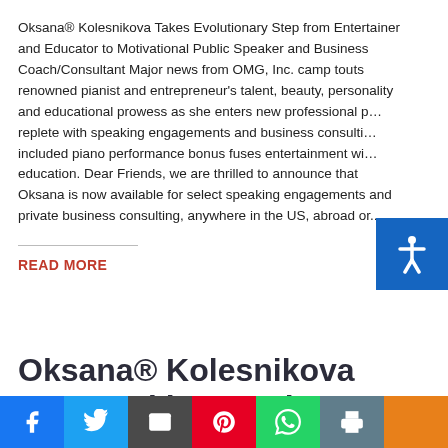Oksana® Kolesnikova Takes Evolutionary Step from Entertainer and Educator to Motivational Public Speaker and Business Coach/Consultant Major news from OMG, Inc. camp touts renowned pianist and entrepreneur's talent, beauty, personality and educational prowess as she enters new professional p… replete with speaking engagements and business consulti… included piano performance bonus fuses entertainment wi… education. Dear Friends, we are thrilled to announce that Oksana is now available for select speaking engagements and private business consulting, anywhere in the US, abroad or...
READ MORE
Oksana® Kolesnikova accepted into Forbes